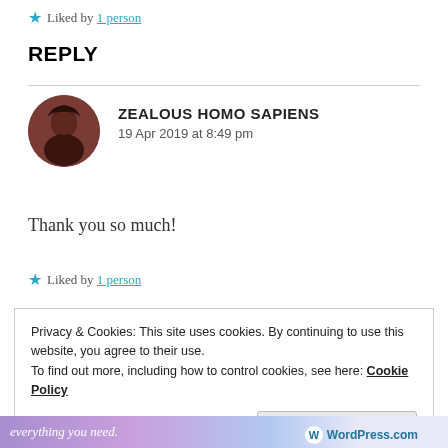★ Liked by 1 person
REPLY
ZEALOUS HOMO SAPIENS
19 Apr 2019 at 8:49 pm
Thank you so much!
★ Liked by 1 person
Privacy & Cookies: This site uses cookies. By continuing to use this website, you agree to their use.
To find out more, including how to control cookies, see here: Cookie Policy
Close and accept
everything you need.    WordPress.com